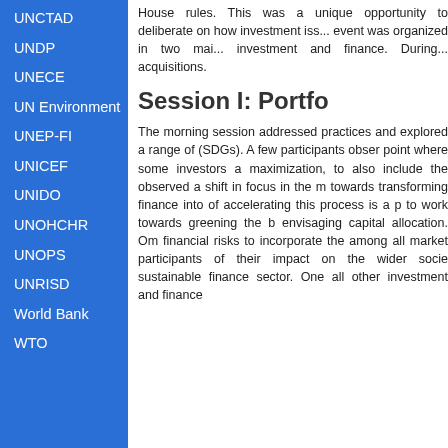UNCTAD
UNDP
UNECE
UN Environment
UNEP-FI
UNICEF
UNIDO
UNOHCHR
UNOPS
UNRISD
World Bank
WTO
House rules. This was a unique opportunity to deliberate on how investment iss... event was organized in two mai... investment and finance. During... acquisitions.
Session I: Portfo...
The morning session addressed practices and explored a range of (SDGs). A few participants obser point where some investors a maximization, to also include the observed a shift in focus in the m towards transforming finance into of accelerating this process is a p to work towards greening the b envisaging capital allocation. Om financial risks to incorporate the among all market participants of their impact on the wider socie sustainable finance sector. One all other investment and finance